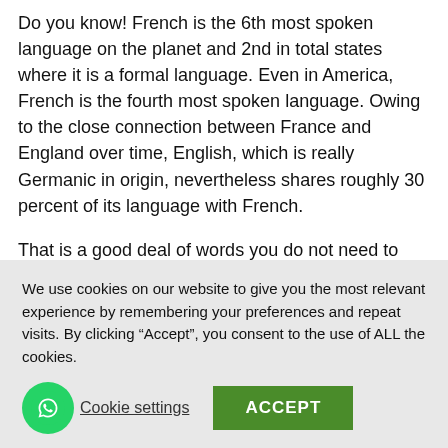Do you know! French is the 6th most spoken language on the planet and 2nd in total states where it is a formal language. Even in America, French is the fourth most spoken language. Owing to the close connection between France and England over time, English, which is really Germanic in origin, nevertheless shares roughly 30 percent of its language with French.
That is a good deal of words you do not need to relearn!
Want to study French but do not know where to begin?
The web is filled with choices for Top French Classes In
We use cookies on our website to give you the most relevant experience by remembering your preferences and repeat visits. By clicking “Accept”, you consent to the use of ALL the cookies.
Cookie settings
ACCEPT